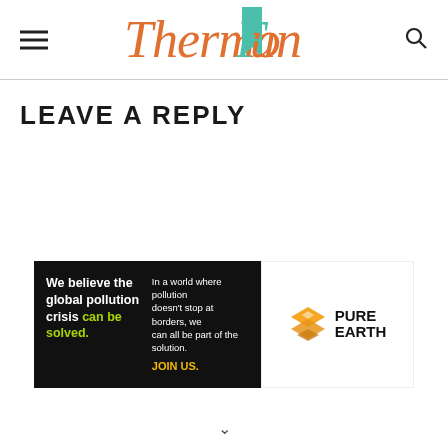ThermoFun
LEAVE A REPLY
[Figure (other): Pure Earth advertisement banner: black background with text 'We believe the global pollution crisis can be solved.' and 'In a world where pollution doesn't stop at borders, we can all be part of the solution. JOIN US.' with Pure Earth logo on right.]